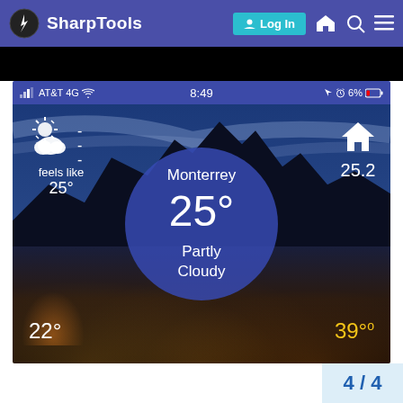SharpTools — Log In navigation bar
[Figure (screenshot): Mobile phone screenshot showing a weather app for Monterrey displaying 25° Partly Cloudy, feels like 25°, home temp 25.2, low 22°, high 39°. Status bar shows AT&T 4G, time 8:49, battery 6%.]
4 / 4